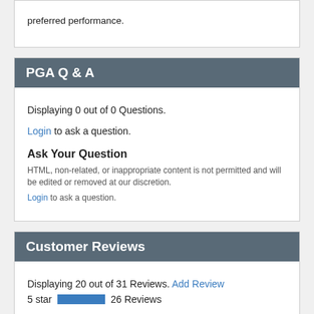preferred performance.
PGA Q & A
Displaying 0 out of 0 Questions.
Login to ask a question.
Ask Your Question
HTML, non-related, or inappropriate content is not permitted and will be edited or removed at our discretion.
Login to ask a question.
Customer Reviews
Displaying 20 out of 31 Reviews. Add Review
5 star  26 Reviews